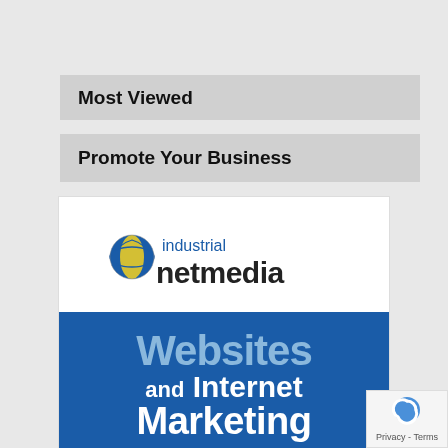Most Viewed
Promote Your Business
[Figure (logo): Industrial NetMedia logo with yellow/blue globe icon and 'industrial netmedia' text, above a blue banner reading 'Websites and Internet Marketing']
Privacy - Terms